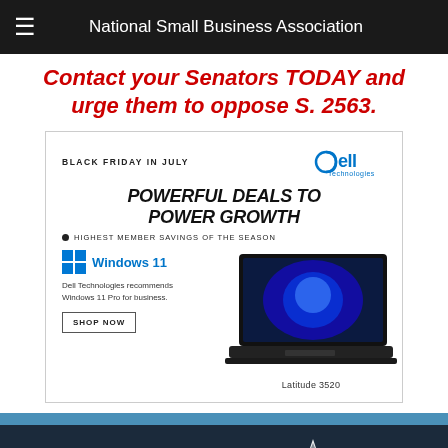National Small Business Association
Contact your Senators TODAY and urge them to oppose S. 2563.
[Figure (illustration): Dell Technologies Black Friday in July advertisement featuring a Dell Latitude 3520 laptop with Windows 11, promoting 'Powerful Deals to Power Growth' and 'Highest Member Savings of the Season' with a 'Shop Now' button.]
NSBA